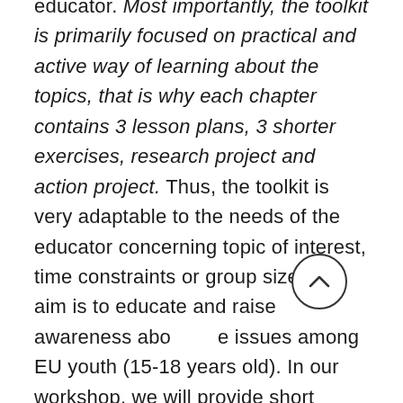educator. Most importantly, the toolkit is primarily focused on practical and active way of learning about the topics, that is why each chapter contains 3 lesson plans, 3 shorter exercises, research project and action project. Thus, the toolkit is very adaptable to the needs of the educator concerning topic of interest, time constraints or group size. The aim is to educate and raise awareness about the issues among EU youth (15-18 years old). In our workshop, we will provide short overview of the toolkit as well as examples of the activities, which can be introduced